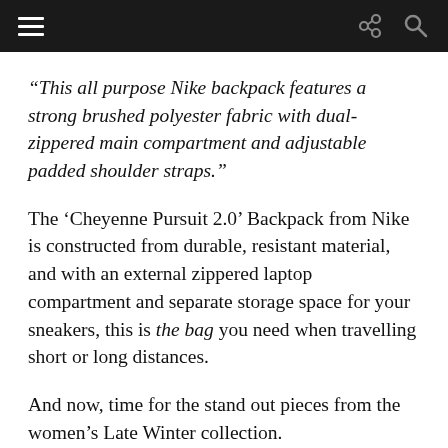Navigation bar with hamburger menu, share icon, and search icon
“This all purpose Nike backpack features a strong brushed polyester fabric with dual-zippered main compartment and adjustable padded shoulder straps.”
The ‘Cheyenne Pursuit 2.0’ Backpack from Nike is constructed from durable, resistant material, and with an external zippered laptop compartment and separate storage space for your sneakers, this is the bag you need when travelling short or long distances.
And now, time for the stand out pieces from the women’s Late Winter collection.